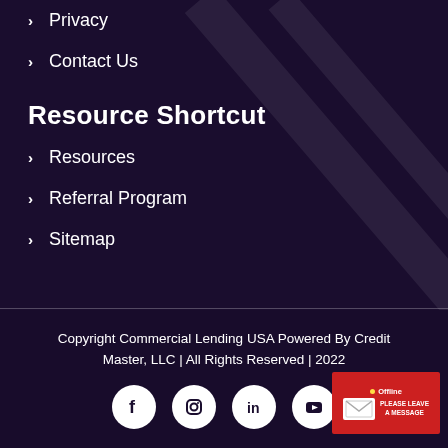> Privacy
> Contact Us
Resource Shortcut
> Resources
> Referral Program
> Sitemap
Copyright Commercial Lending USA Powered By Credit Master, LLC | All Rights Reserved | 2022